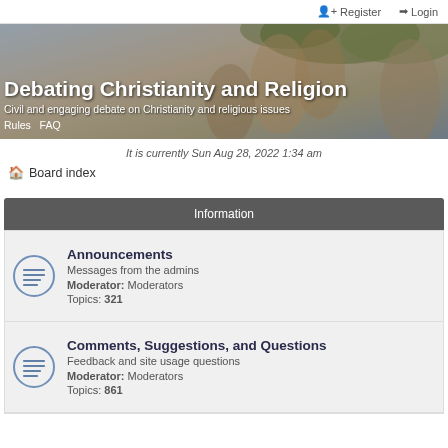Register  Login
[Figure (illustration): Banner image for 'Debating Christianity and Religion' forum with a classical painting background showing figures, with white bold text overlay reading the site title and subtitle, and links to Rules and FAQ.]
It is currently Sun Aug 28, 2022 1:34 am
Board index
Information
Announcements
Messages from the admins
Moderator: Moderators
Topics: 321
Comments, Suggestions, and Questions
Feedback and site usage questions
Moderator: Moderators
Topics: 861